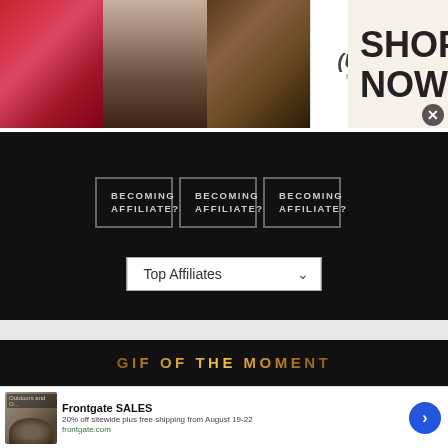[Figure (photo): Ulta Beauty advertisement banner with makeup photos (lips, brush, eye), Ulta logo, and 'SHOP NOW' call to action with close button]
[Figure (screenshot): Dark website section with three 'BECOMING AFFILIATE?' buttons in bordered boxes and a 'Top Affiliates' dropdown selector]
[Figure (screenshot): Dark section with 'GIF OF THE MOMENT' title in gold lettering and a partial image showing a person's hair/head]
[Figure (advertisement): Frontgate SALES ad: '20% off sitewide plus free shipping from August 19-22' with frontgate.com link, outdoor furniture photo, blue arrow button, and close button]